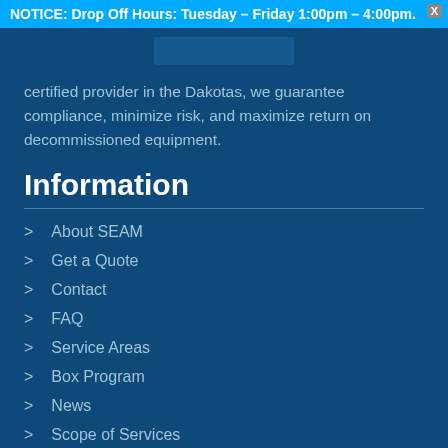NOTICE: Drop Off Hours: Tuesday – Friday 1:00pm – 4:00pm.
certified provider in the Dakotas, we guarantee compliance, minimize risk, and maximize return on decommissioned equipment.
Information
About SEAM
Get a Quote
Contact
FAQ
Service Areas
Box Program
News
Scope of Services
Contact Us